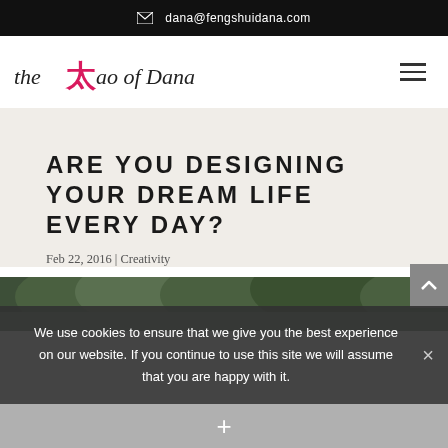dana@fengshuidana.com
[Figure (logo): The Tao of Dana logo with decorative script text and pink/red Chinese character accent]
ARE YOU DESIGNING YOUR DREAM LIFE EVERY DAY?
Feb 22, 2016 | Creativity
[Figure (photo): Partial photo of trees/nature scene, mostly cropped]
We use cookies to ensure that we give you the best experience on our website. If you continue to use this site we will assume that you are happy with it.